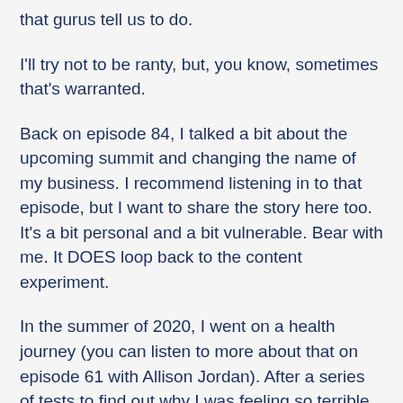that gurus tell us to do.
I'll try not to be ranty, but, you know, sometimes that's warranted.
Back on episode 84, I talked a bit about the upcoming summit and changing the name of my business. I recommend listening in to that episode, but I want to share the story here too. It's a bit personal and a bit vulnerable. Bear with me. It DOES loop back to the content experiment.
In the summer of 2020, I went on a health journey (you can listen to more about that on episode 61 with Allison Jordan). After a series of tests to find out why I was feeling so terrible all the time–tired ALL the time, bloated, upset stomach, fogginess, not able to lose